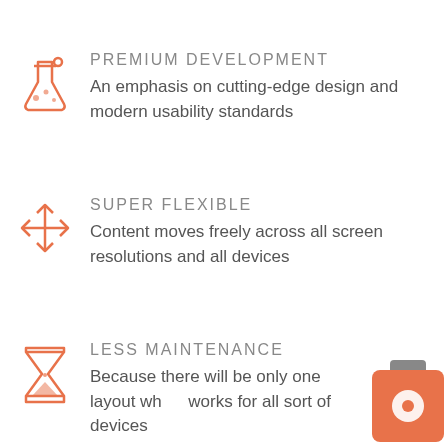[Figure (illustration): Orange flask/potion icon with small circle above]
PREMIUM DEVELOPMENT
An emphasis on cutting-edge design and modern usability standards
[Figure (illustration): Orange four-directional move/arrows icon]
SUPER FLEXIBLE
Content moves freely across all screen resolutions and all devices
[Figure (illustration): Orange hourglass icon]
LESS MAINTENANCE
Because there will be only one layout which works for all sort of devices
[Figure (illustration): Orange chat/notification widget button in bottom right corner]